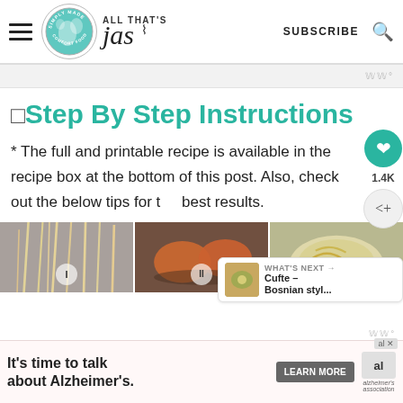≡ ALL THAT'S jas SUBSCRIBE 🔍 [Logo: Simply Made Comfort Food globe]
🔲 Step By Step Instructions
* The full and printable recipe is available in the recipe box at the bottom of this post. Also, check out the below tips for the best results.
[Figure (photo): Three side-by-side step photos: (I) dry spaghetti on gray surface, (II) salmon fillets in pan with sauce, (III) cooked pasta in bowl]
[Figure (infographic): Ad banner: It's time to talk about Alzheimer's. LEARN MORE button. Alzheimer's Association logo with close X button.]